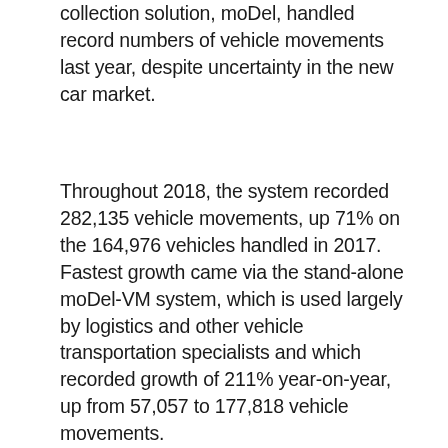collection solution, moDel, handled record numbers of vehicle movements last year, despite uncertainty in the new car market.
Throughout 2018, the system recorded 282,135 vehicle movements, up 71% on the 164,976 vehicles handled in 2017. Fastest growth came via the stand-alone moDel-VM system, which is used largely by logistics and other vehicle transportation specialists and which recorded growth of 211% year-on-year, up from 57,057 to 177,818 vehicle movements.